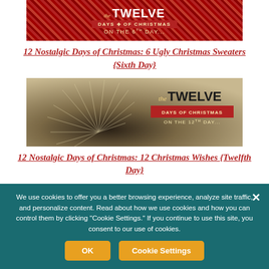[Figure (illustration): Red plaid banner with 'the TWELVE DAYS of CHRISTMAS ON THE 6TH DAY...' text in gold/white on red tartan background]
12 Nostalgic Days of Christmas: 6 Ugly Christmas Sweaters {Sixth Day}
[Figure (photo): Dandelion seed head close-up with 'the TWELVE DAYS of CHRISTMAS ON THE 12TH DAY...' overlay text on right side]
12 Nostalgic Days of Christmas: 12 Christmas Wishes {Twelfth Day}
We use cookies to offer you a better browsing experience, analyze site traffic, and personalize content. Read about how we use cookies and how you can control them by clicking "Cookie Settings." If you continue to use this site, you consent to our use of cookies.